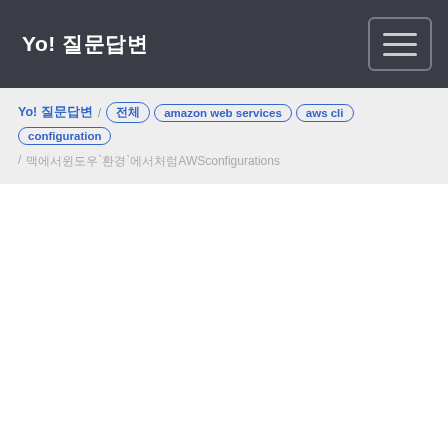Yo! 질문답변
Yo! 질문답변 / 전체 / amazon web services / aws cli / configuration / 맥에서윈도우`환경`에서처럼AWSconfigurations